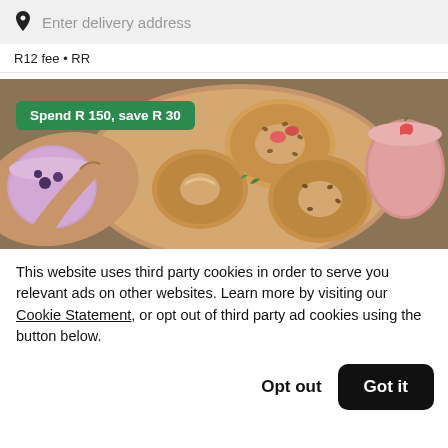Enter delivery address
R12 fee • RR
[Figure (photo): Food delivery promotional image showing bagels and smoothies on a wooden board, with a green badge reading 'Spend R 150, save R 30']
This website uses third party cookies in order to serve you relevant ads on other websites. Learn more by visiting our Cookie Statement, or opt out of third party ad cookies using the button below.
Opt out
Got it